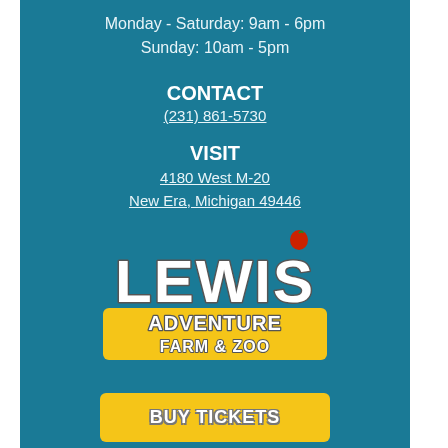Monday - Saturday: 9am - 6pm
Sunday: 10am - 5pm
CONTACT
(231) 861-5730
VISIT
4180 West M-20
New Era, Michigan 49446
[Figure (logo): Lewis Adventure Farm & Zoo logo with apple icon, white text on teal background, yellow banner for 'ADVENTURE FARM & ZOO']
BUY TICKETS
© Copyright 2022 by Lewis Farms– All Rights Reserved Worldwide. Powered by Audience Media Group Member of The MAiZE